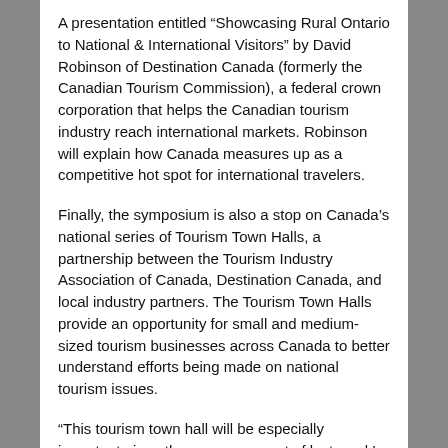A presentation entitled “Showcasing Rural Ontario to National & International Visitors” by David Robinson of Destination Canada (formerly the Canadian Tourism Commission), a federal crown corporation that helps the Canadian tourism industry reach international markets. Robinson will explain how Canada measures up as a competitive hot spot for international travelers.
Finally, the symposium is also a stop on Canada’s national series of Tourism Town Halls, a partnership between the Tourism Industry Association of Canada, Destination Canada, and local industry partners. The Tourism Town Halls provide an opportunity for small and medium-sized tourism businesses across Canada to better understand efforts being made on national tourism issues.
“This tourism town hall will be especially important given the announcement of last week’s federal budget and the importance it placed on tourism as a high-growth sector,”